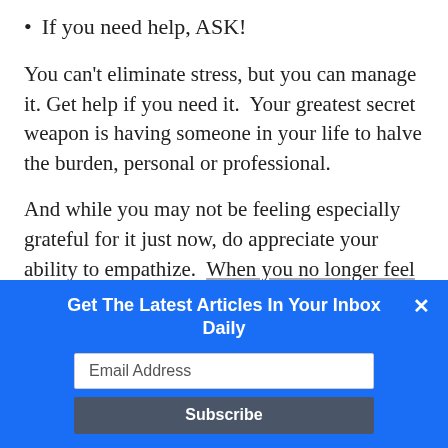If you need help, ASK!
You can’t eliminate stress, but you can manage it. Get help if you need it.  Your greatest secret weapon is having someone in your life to halve the burden, personal or professional.
And while you may not be feeling especially grateful for it just now, do appreciate your ability to empathize.  When you no longer feel
Get The Latest Articles In Your Inbox Daily
Email Address
Subscribe